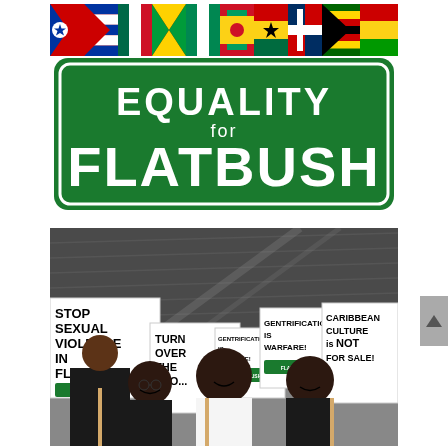[Figure (logo): Equality for Flatbush logo — street-sign style green sign reading EQUALITY for FLATBUSH with a row of Caribbean and African national flags across the top]
[Figure (photo): Photograph of young Black women holding protest signs at a Flatbush community demonstration. Signs read: STOP SEXUAL VIOLENCE IN FLATBUSH!, TURN OVER THE PEO[PLE], GENTRIFICATION IS VIOLENCE!, GENTRIFICATION IS WARFARE!, CARIBBEAN CULTURE IS NOT FOR SALE!]